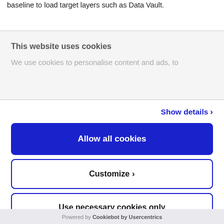baseline to load target layers such as Data Vault.
This website uses cookies
We use cookies to personalise content and ads, to
Show details ›
Allow all cookies
Customize ›
Use necessary cookies only
Powered by Cookiebot by Usercentrics